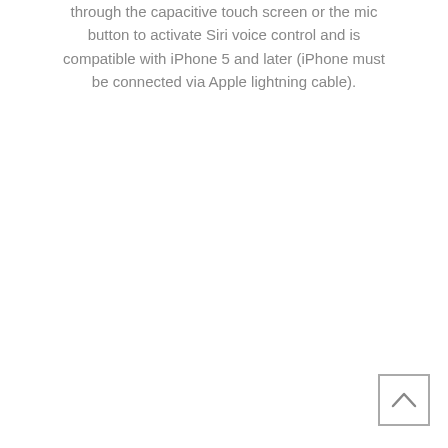through the capacitive touch screen or the mic button to activate Siri voice control and is compatible with iPhone 5 and later (iPhone must be connected via Apple lightning cable).
[Figure (other): A square button with a upward-pointing chevron (caret) arrow, used for scrolling back to top of page.]